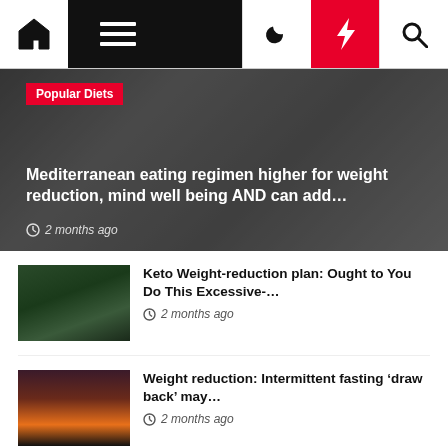Navigation bar with home, menu, dark mode, lightning, and search icons
[Figure (photo): Hero image with fitness/people background, Popular Diets tag]
Mediterranean eating regimen higher for weight reduction, mind well being AND can add…
2 months ago
[Figure (photo): Man running in forest path, dark green tones]
Keto Weight-reduction plan: Ought to You Do This Excessive-…
2 months ago
[Figure (photo): Sunset silhouette with orange and black gradient]
Weight reduction: Intermittent fasting 'draw back' may…
2 months ago
[Figure (photo): Black and white photo of students or fitness activity]
IU college students lead well being teaching programs…